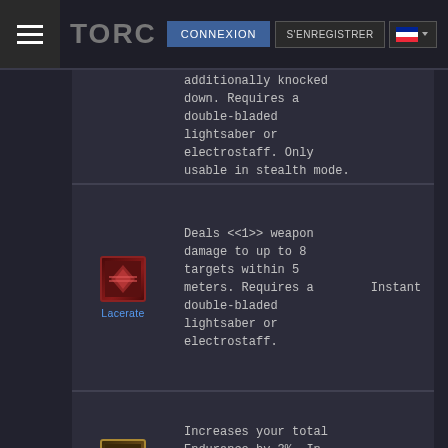TORC  CONNEXION  S'ENREGISTRER
additionally knocked down. Requires a double-bladed lightsaber or electrostaff. Only usable in stealth mode.
Lacerate — Deals <<1>> weapon damage to up to 8 targets within 5 meters. Requires a double-bladed lightsaber or electrostaff. — Instant
Assassin's Training — Increases your total Endurance by 3%. In addition, Saber Strike restores 1 Force each time it damages an enemy. — Passive